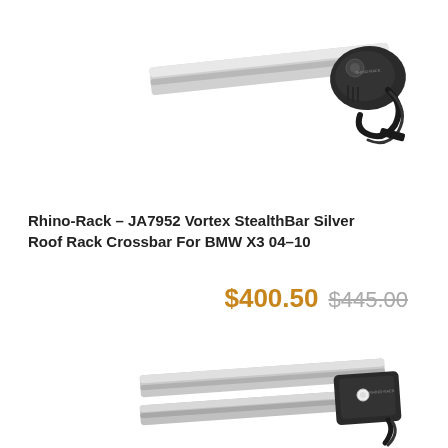[Figure (photo): Close-up photo of a Rhino-Rack Vortex StealthBar silver roof rack crossbar end, showing the black mounting clamp mechanism with a circular knob and strap loop, against a white background.]
Rhino-Rack - JA7952 Vortex StealthBar Silver Roof Rack Crossbar For BMW X3 04-10
$400.50  $445.00
[Figure (photo): Close-up photo of a Rhino-Rack Vortex StealthBar silver roof rack crossbar from a different angle, showing two parallel silver bars and the black mounting bracket with strap, against a white background.]